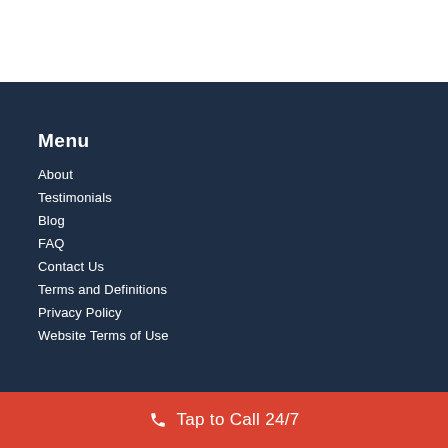Menu
About
Testimonials
Blog
FAQ
Contact Us
Terms and Definitions
Privacy Policy
Website Terms of Use
Tap to Call 24/7